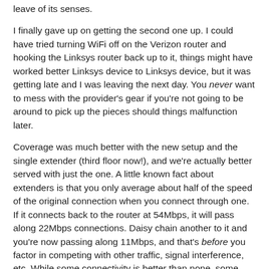leave of its senses.
I finally gave up on getting the second one up. I could have tried turning WiFi off on the Verizon router and hooking the Linksys router back up to it, things might have worked better Linksys device to Linksys device, but it was getting late and I was leaving the next day. You never want to mess with the provider's gear if you're not going to be around to pick up the pieces should things malfunction later.
Coverage was much better with the new setup and the single extender (third floor now!), and we're actually better served with just the one. A little known fact about extenders is that you only average about half of the speed of the original connection when you connect through one. If it connects back to the router at 54Mbps, it will pass along 22Mbps connections. Daisy chain another to it and you're now passing along 11Mbps, and that's before you factor in competing with other traffic, signal interference, etc. While some connectivity is better than none, some isn't, and you'd be approaching the "isn't" range with a second unit.